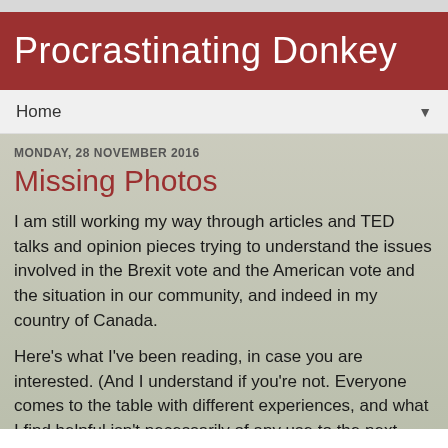Procrastinating Donkey
Home
MONDAY, 28 NOVEMBER 2016
Missing Photos
I am still working my way through articles and TED talks and opinion pieces trying to understand the issues involved in the Brexit vote and the American vote and the situation in our community, and indeed in my country of Canada.
Here's what I've been reading, in case you are interested. (And I understand if you're not. Everyone comes to the table with different experiences, and what I find helpful isn't necessarily of any use to the next person.)
Elizabeth Lesser: Take "the Other" to lunch. (TEDWomen